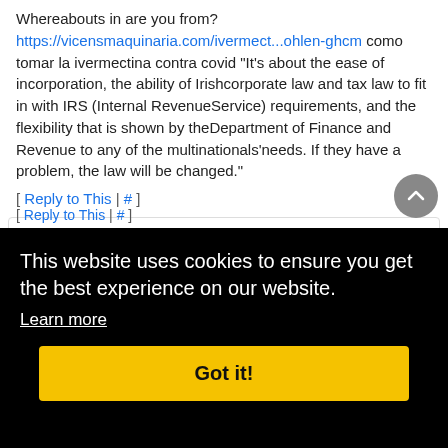Whereabouts in are you from? https://vicensmaquinaria.com/ivermect...ohlen-ghcm como tomar la ivermectina contra covid "It's about the ease of incorporation, the ability of Irishcorporate law and tax law to fit in with IRS (Internal RevenueService) requirements, and the flexibility that is shown by theDepartment of Finance and Revenue to any of the multinationals'needs. If they have a problem, the law will be changed."
[ Reply to This | # ]
APAELWvvzLOLYqgTwK
6 2022
one-
said:
he.
th the
[ Reply to This | # ]
This website uses cookies to ensure you get the best experience on our website. Learn more
Got it!